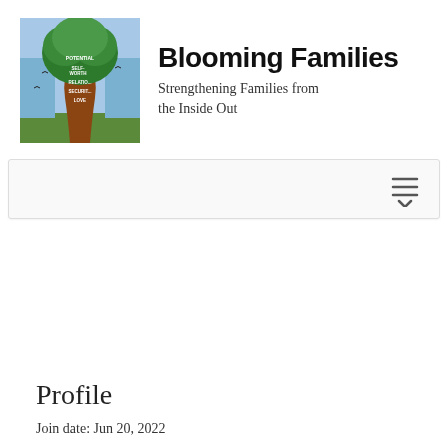[Figure (illustration): Painting of a tree with words on it including POTENTIAL, SELF-WORTH, RELATIONS, SECURITY, LOVE. Tree has brown trunk, green leafy top, blue background suggesting sky/water, green grass at the base. Birds visible.]
Blooming Families
Strengthening Families from the Inside Out
[Figure (other): Navigation bar with hamburger menu icon (three horizontal lines) and a chevron/arrow pointing down]
Profile
Join date: Jun 20, 2022
About